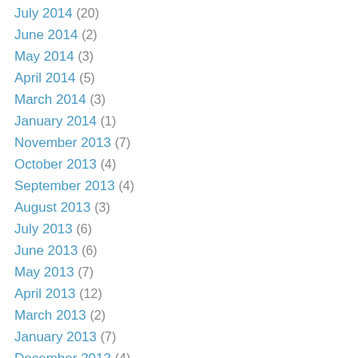July 2014 (20)
June 2014 (2)
May 2014 (3)
April 2014 (5)
March 2014 (3)
January 2014 (1)
November 2013 (7)
October 2013 (4)
September 2013 (4)
August 2013 (3)
July 2013 (6)
June 2013 (6)
May 2013 (7)
April 2013 (12)
March 2013 (2)
January 2013 (7)
December 2012 (4)
November 2012 (7)
September 2012 (1)
August 2012 (2)